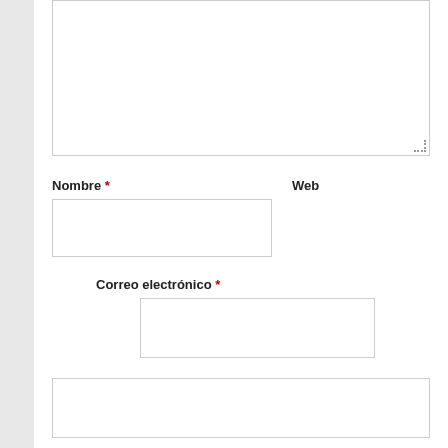[Figure (screenshot): A web form textarea input box at the top of the page, partially cut off, with a resize handle at bottom right.]
Nombre * Web
[Figure (screenshot): Input field for Nombre (Name), required.]
Correo electrónico *
[Figure (screenshot): Input field for Correo electrónico (Email), required.]
[Figure (screenshot): Wide input field below email.]
Guarda mi nombre, correo electrónico y web en este